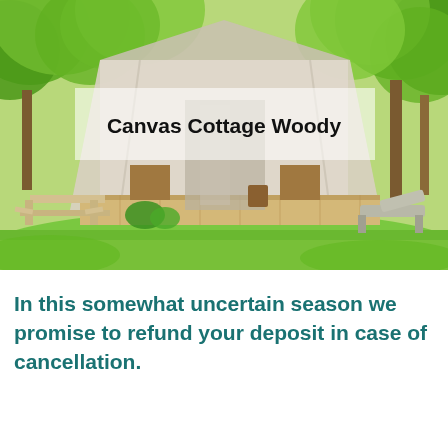[Figure (photo): Outdoor photo of a canvas glamping cottage called 'Canvas Cottage Woody' set in a lush green garden with trees. A large white canvas tent structure sits on a wooden deck, with a picnic table on the left and sun loungers on the right. A semi-transparent white overlay box shows the name of the accommodation.]
In this somewhat uncertain season we promise to refund your deposit in case of cancellation.